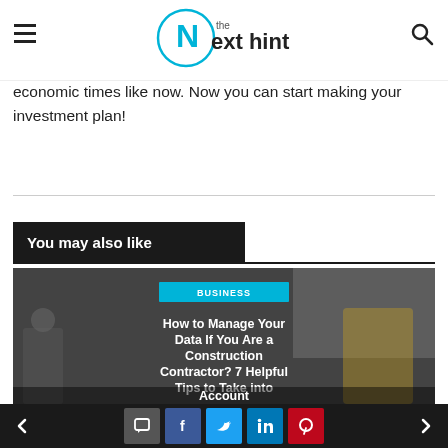The Next Hint
economic times like now. Now you can start making your investment plan!
You may also like
[Figure (photo): Construction workers photo with overlay text card showing a business article about managing data as a construction contractor]
How to Manage Your Data If You Are a Construction Contractor? 7 Helpful Tips to Take into Account
Navigation arrows and social sharing buttons: comment, facebook, twitter, linkedin, pinterest